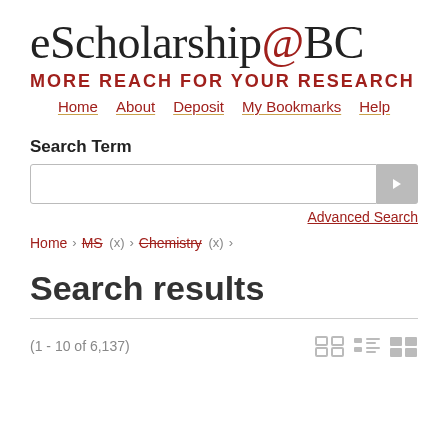eScholarship@BC
MORE REACH FOR YOUR RESEARCH
Home · About · Deposit · My Bookmarks · Help
Search Term
Advanced Search
Home › MS (x) › Chemistry (x) ›
Search results
(1 - 10 of 6,137)